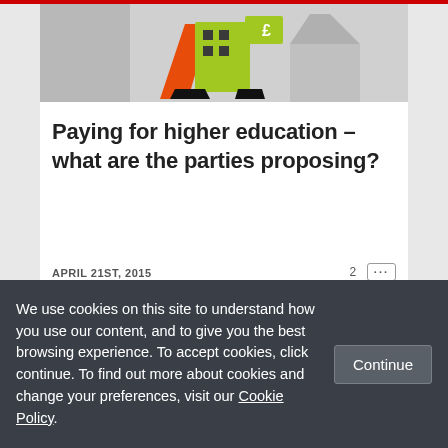[Figure (illustration): Colorful illustration with orange and green shapes, buildings, pound sign, on grey background]
Paying for higher education – what are the parties proposing?
APRIL 21ST, 2015    2 [...]
[Figure (photo): Photo of urban buildings from below with a red Higher Education badge overlay]
We use cookies on this site to understand how you use our content, and to give you the best browsing experience. To accept cookies, click continue. To find out more about cookies and change your preferences, visit our Cookie Policy.